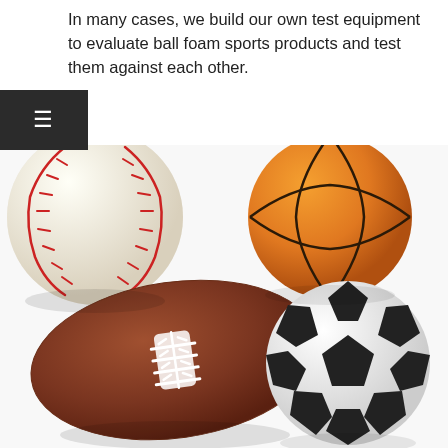In many cases, we build our own test equipment to evaluate ball foam sports products and test them against each other.
[Figure (photo): Four foam sports balls arranged in a 2x2 grid: a baseball (top left, white with red stitching), a basketball (top right, orange with black lines), an american football (bottom left, brown with white laces), and a soccer ball (bottom right, white with black panels).]